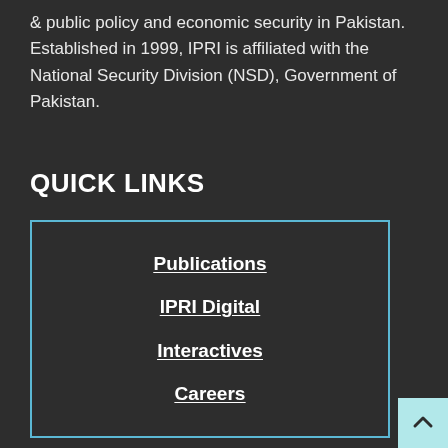& public policy and economic security in Pakistan. Established in 1999, IPRI is affiliated with the National Security Division (NSD), Government of Pakistan.
QUICK LINKS
Publications
IPRI Digital
Interactives
Careers